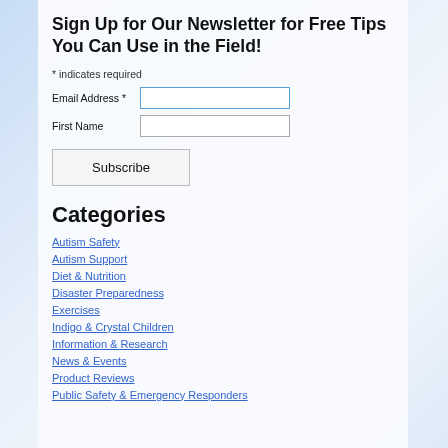Sign Up for Our Newsletter for Free Tips You Can Use in the Field!
* indicates required
Email Address *
First Name
Subscribe
Categories
Autism Safety
Autism Support
Diet & Nutrition
Disaster Preparedness
Exercises
Indigo & Crystal Children
Information & Research
News & Events
Product Reviews
Public Safety & Emergency Responders